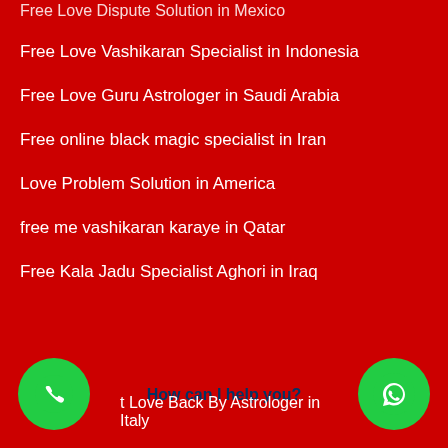Free Love Dispute Solution in Mexico
Free Love Vashikaran Specialist in Indonesia
Free Love Guru Astrologer in Saudi Arabia
Free online black magic specialist in Iran
Love Problem Solution in America
free me vashikaran karaye in Qatar
Free Kala Jadu Specialist Aghori in Iraq
Get Love Back By Astrologer in Italy
How can I help you?